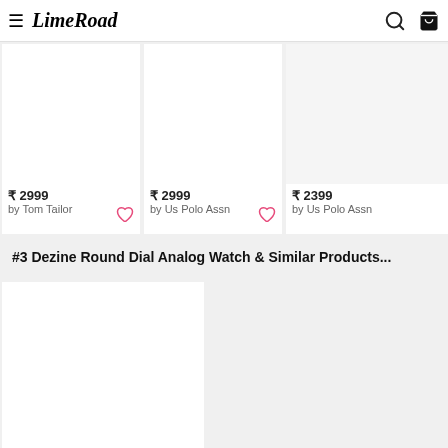LimeRoad
[Figure (screenshot): Product listing showing three watch products. First: ₹ 2999 by Tom Tailor with heart icon. Second: ₹ 2999 by Us Polo Assn with heart icon. Third: ₹ 2399 by Us Polo Assn.]
#3 Dezine Round Dial Analog Watch & Similar Products...
[Figure (screenshot): Two product image cards showing watch products, images loading (white/grey boxes).]